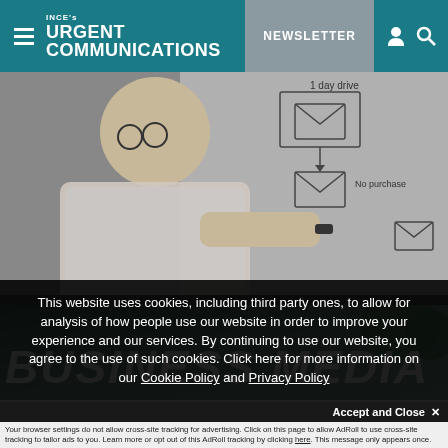INCE's URGENT COMMUNICATIONS | NEWSLETTER
[Figure (photo): Person from behind writing on a whiteboard/flowchart diagram with envelope icons and text '1 day drive', 'No purchase']
[Figure (photo): Partial image with large white text 'BUSINESS MEDIA' visible, green/nature background]
This website uses cookies, including third party ones, to allow for analysis of how people use our website in order to improve your experience and our services. By continuing to use our website, you agree to the use of such cookies. Click here for more information on our Cookie Policy and Privacy Policy
Accept and Close ✕
Your browser settings do not allow cross-site tracking for advertising. Click on this page to allow AdRoll to use cross-site tracking to tailor ads to you. Learn more or opt out of this AdRoll tracking by clicking here. This message only appears once.